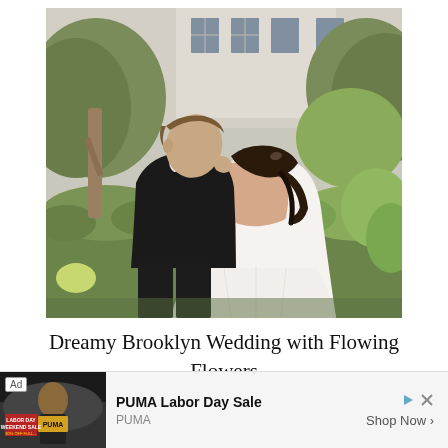[Figure (photo): A couple in wedding attire in a garden setting. The groom in a black tuxedo leans toward the bride who is wearing a backless white wedding dress with brown hair down. Lush green hedges and a building are visible in the background.]
Dreamy Brooklyn Wedding with Flowing Flowers and Hints of Citrus
[Figure (infographic): Advertisement banner: PUMA Labor Day Sale. Shows an ad image on the left with a person and Labor Day sale text, followed by the ad title 'PUMA Labor Day Sale', sponsor 'PUMA', and a 'Shop Now >' call to action on the right.]